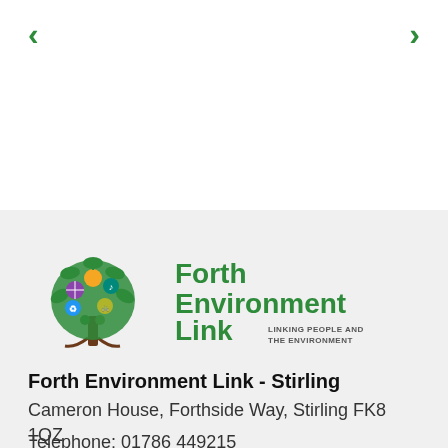[Figure (logo): Forth Environment Link logo with tree and icons, green text reading 'Forth Environment Link LINKING PEOPLE AND THE ENVIRONMENT']
Forth Environment Link - Stirling
Cameron House, Forthside Way, Stirling FK8 1QZ
Telephone: 01786 449215